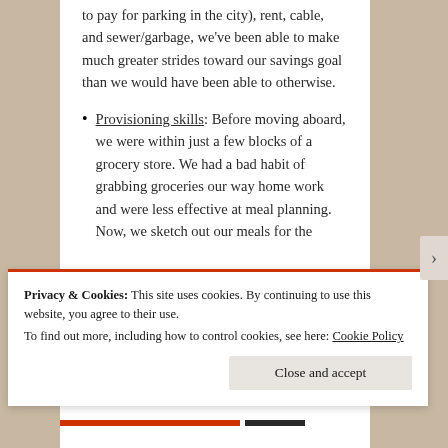to pay for parking in the city), rent, cable, and sewer/garbage, we've been able to make much greater strides toward our savings goal than we would have been able to otherwise.
Provisioning skills: Before moving aboard, we were within just a few blocks of a grocery store. We had a bad habit of grabbing groceries our way home work and were less effective at meal planning. Now, we sketch out our meals for the
Privacy & Cookies: This site uses cookies. By continuing to use this website, you agree to their use. To find out more, including how to control cookies, see here: Cookie Policy